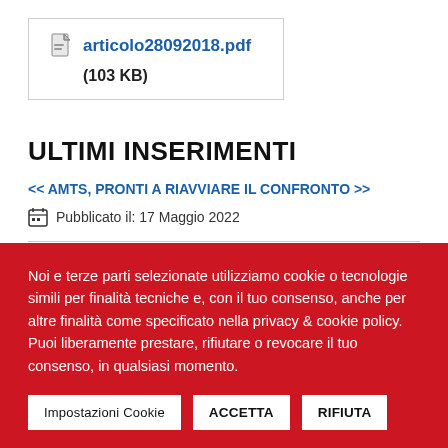[Figure (other): PDF file attachment box showing file named articolo28092018.pdf with size 103 KB]
ULTIMI INSERIMENTI
<< AMTS, PRONTI A RIAVVIARE IL CONFRONTO >>
Pubblicato il: 17 Maggio 2022
Noi e terze parti selezionate utilizziamo cookie o tecnologie simili per finalità tecniche e, con il tuo consenso, anche per altre finalità come specificato nella privacy & cookie policy.
Puoi liberamente prestare, rifiutare o revocare il tuo consenso, in qualsiasi momento.
Impostazioni Cookie
ACCETTA
RIFIUTA